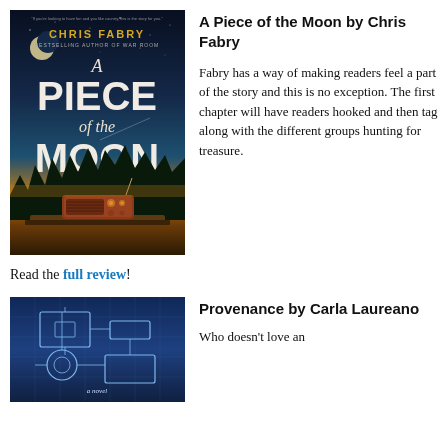[Figure (photo): Book cover of 'A Piece of the Moon' by Chris Fabry, showing a night sky with crescent moon, title text, and a vintage radio on a wooden surface against a golden horizon with dark treeline.]
A Piece of the Moon by Chris Fabry
Fabry has a way of making readers feel a part of the story and this is no exception. The first chapter will have readers hooked and then tag along with the different groups hunting for treasure.
Read the full review!
[Figure (photo): Book cover of 'Provenance' by Carla Laureano, showing a blue-toned architectural blueprint or schematic diagram with geometric lines and shapes.]
Provenance by Carla Laureano
Who doesn't love an